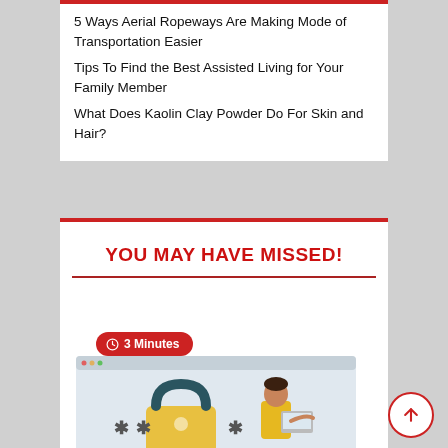5 Ways Aerial Ropeways Are Making Mode of Transportation Easier
Tips To Find the Best Assisted Living for Your Family Member
What Does Kaolin Clay Powder Do For Skin and Hair?
YOU MAY HAVE MISSED!
[Figure (illustration): Clock icon with '3 Minutes' badge in red pill shape, and below it a browser window illustration showing a padlock with asterisks and a person in yellow jacket holding a laptop]